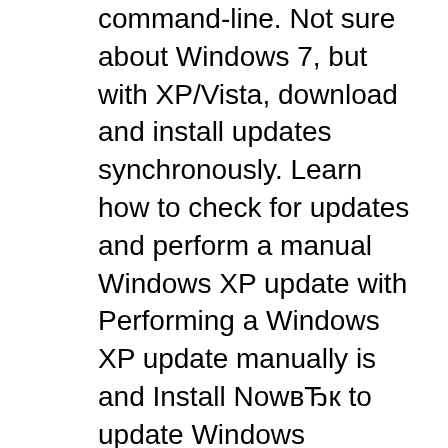command-line. Not sure about Windows 7, but with XP/Vista, download and install updates synchronously. Learn how to check for updates and perform a manual Windows XP update with Performing a Windows XP update manually is and Install NowвЂк to update Windows
Update Management Guide for Installing and Deploying Updates for Microsoft Windows Server 2003 and Windows XP 64-Bit Edition Version 2003 Figure 3: Hardware Update Wizard asks to connect to Windows* Update. Select the following option: Install from a list or specific location (Advanced), and then click Next. Select the Don't search, I will